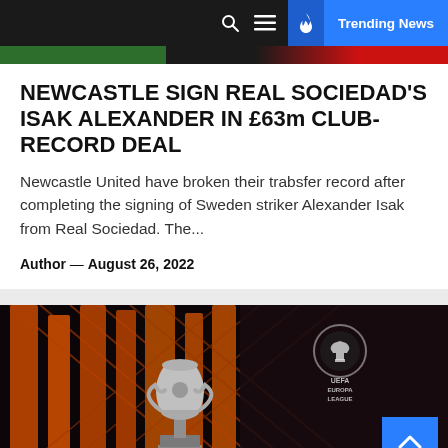Trending News
NEWCASTLE SIGN REAL SOCIEDAD'S ISAK ALEXANDER IN £63m CLUB-RECORD DEAL
Newcastle United have broken their trabsfer record after completing the signing of Sweden striker Alexander Isak from Real Sociedad. The...
Author — August 26, 2022
[Figure (photo): Europa League trophy on a dark red and orange illuminated stage backdrop with Europa League logo visible in background]